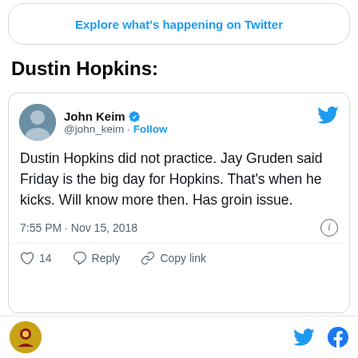[Figure (screenshot): Twitter 'Explore what's happening on Twitter' button/banner]
Dustin Hopkins:
[Figure (screenshot): Tweet from John Keim (@john_keim): 'Dustin Hopkins did not practice. Jay Gruden said Friday is the big day for Hopkins. That's when he kicks. Will know more then. Has groin issue.' 7:55 PM · Nov 15, 2018. 14 likes. Reply. Copy link.]